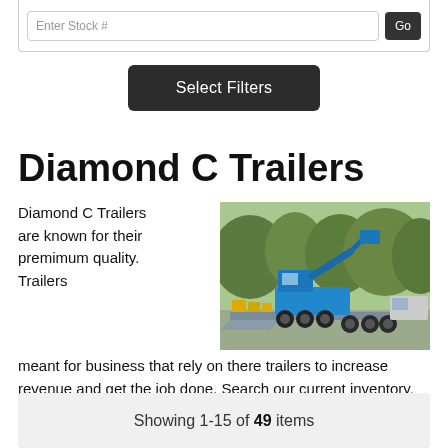Enter Stock #
Select Filters
Diamond C Trailers
[Figure (photo): A blue boom lift / aerial work platform loaded on a heavy-duty flatbed trailer, parked in a lot with trees in the background.]
Diamond C Trailers are known for their premimum quality. Trailers meant for business that rely on there trailers to increase revenue and get the job done. Search our current inventory.
Showing 1-15 of 49 items